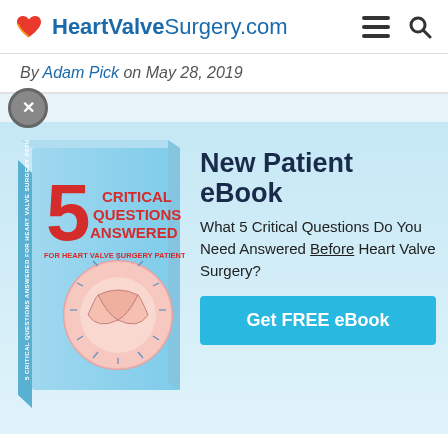HeartValveSurgery.com
By Adam Pick on May 28, 2019
[Figure (illustration): Book cover: '5 Critical Questions Answered For Heart Valve Surgery Patients' with a heart valve illustration on a light blue background]
New Patient eBook
What 5 Critical Questions Do You Need Answered Before Heart Valve Surgery?
Get FREE eBook